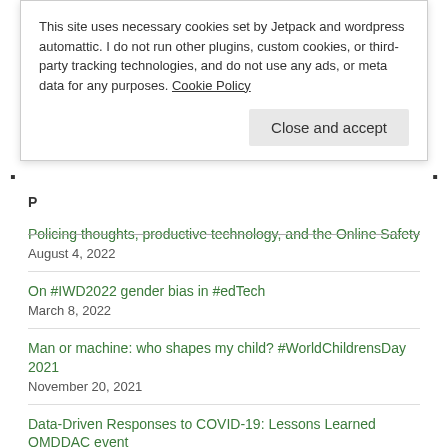This site uses necessary cookies set by Jetpack and wordpress automattic. I do not run other plugins, custom cookies, or third-party tracking technologies, and do not use any ads, or meta data for any purposes. Cookie Policy
Close and accept
Policing thoughts, productive technology, and the Online Safety Bill August 4, 2022
On #IWD2022 gender bias in #edTech March 8, 2022
Man or machine: who shapes my child? #WorldChildrensDay 2021 November 20, 2021
Data-Driven Responses to COVID-19: Lessons Learned OMDDAC event October 15, 2021
Facebook View and Ray-Ban glasses: here's looking at your kid September 26, 2021
When the gold standard no longer exists: data protection and trust